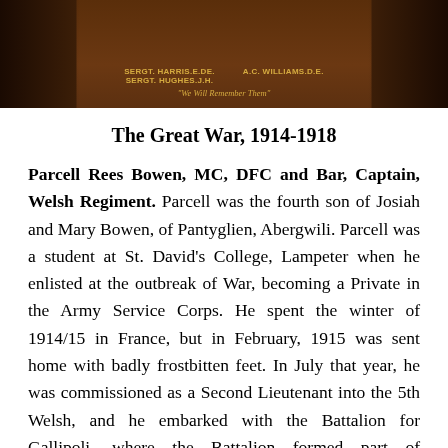[Figure (photo): Photograph of a wooden memorial plaque with gold lettering showing names including SERGT. HARRIS, E.DE., SERGT. HUGHES, J.H., A.C. WILLIAMS, D.E., and the motto 'We Will Remember Them']
The Great War, 1914-1918
Parcell Rees Bowen, MC, DFC and Bar, Captain, Welsh Regiment. Parcell was the fourth son of Josiah and Mary Bowen, of Pantyglien, Abergwili. Parcell was a student at St. David's College, Lampeter when he enlisted at the outbreak of War, becoming a Private in the Army Service Corps. He spent the winter of 1914/15 in France, but in February, 1915 was sent home with badly frostbitten feet. In July that year, he was commissioned as a Second Lieutenant into the 5th Welsh, and he embarked with the Battalion for Gallipoli, where the Battalion formed part of 159 Brigade, 53rd (Welsh) Division. The Division fought
159